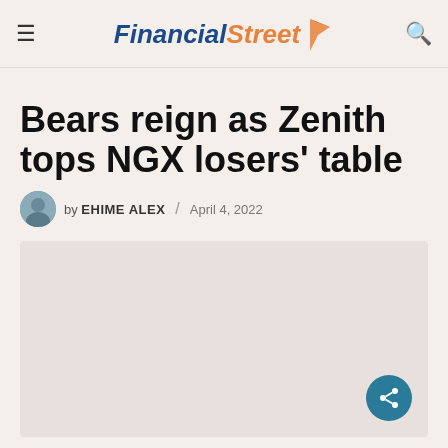FinancialStreet
Bears reign as Zenith tops NGX losers' table
by EHIME ALEX / April 4, 2022
[Figure (photo): Article image placeholder with share button]